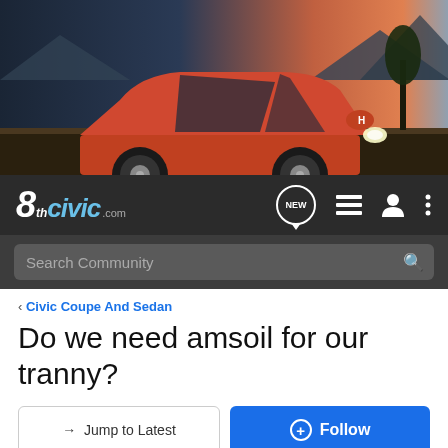[Figure (photo): Red Honda Civic driving on a road with mountains and trees in background, sunset sky]
[Figure (logo): 8thCivic.com website logo with navigation icons including NEW bubble, list icon, user icon, and menu dots]
Search Community
< Civic Coupe And Sedan
Do we need amsoil for our tranny?
→ Jump to Latest
+ Follow
1 - 8 of 8 Posts
distrbd · Registered 🍁
Joined May 18, 2007 · 317 Posts